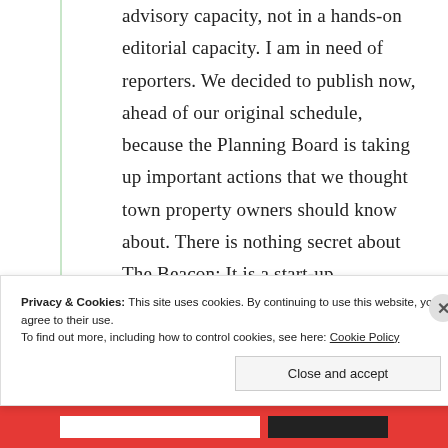advisory capacity, not in a hands-on editorial capacity. I am in need of reporters. We decided to publish now, ahead of our original schedule, because the Planning Board is taking up important actions that we thought town property owners should know about. There is nothing secret about The Beacon: It is a start-up news/editorial operation that is finding its way. I will be writing more later
Privacy & Cookies: This site uses cookies. By continuing to use this website, you agree to their use. To find out more, including how to control cookies, see here: Cookie Policy
Close and accept